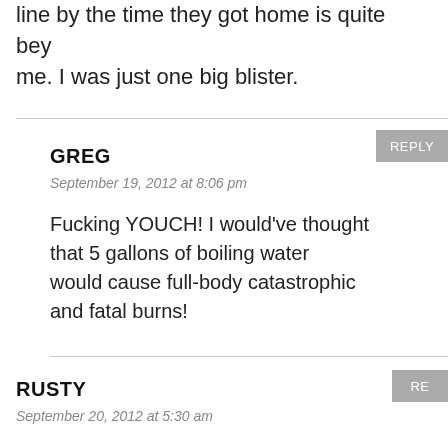line by the time they got home is quite beyond me. I was just one big blister.
GREG
September 19, 2012 at 8:06 pm
Fucking YOUCH! I would've thought that 5 gallons of boiling water would cause full-body catastrophic and fatal burns!
RUSTY
September 20, 2012 at 5:30 am